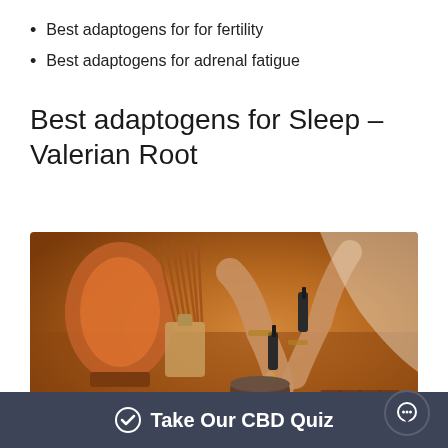Best adaptogens for for fertility
Best adaptogens for adrenal fatigue
Best adaptogens for Sleep – Valerian Root
[Figure (photo): Person's hands with bracelets using a dropper bottle near a lit candle, reed diffuser, salt lamp, ceramic mug, and chocolate on a wooden tray in warm ambient lighting]
Take Our CBD Quiz